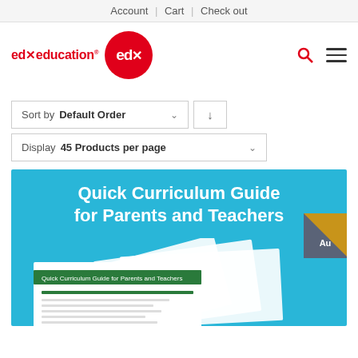Account | Cart | Check out
[Figure (logo): edx education logo with red circle containing 'edx' text and 'edx education' wordmark with registered trademark symbol, plus search and hamburger menu icons]
Sort by Default Order
Display 45 Products per page
[Figure (illustration): Quick Curriculum Guide for Parents and Teachers product banner on light blue background, showing fanned document pages with green headers]